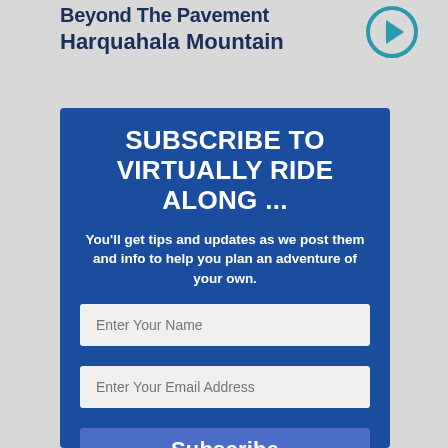Beyond The Pavement Harquahala Mountain
[Figure (illustration): Teal circular arrow/navigation icon pointing right]
SUBSCRIBE TO VIRTUALLY RIDE ALONG ...
You'll get tips and updates as we post them and info to help you plan an adventure of your own.
Enter Your Name
Enter Your Email Address
Subscribe